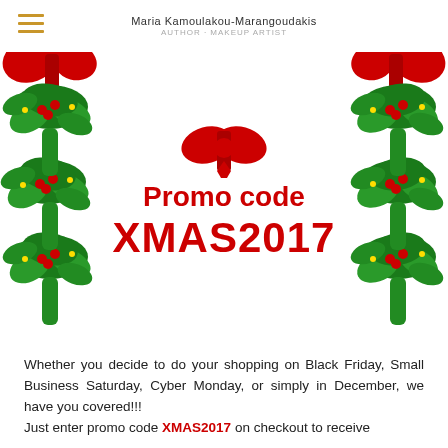Maria Kamoulakou-Marangoudakis
[Figure (illustration): Christmas promotional banner with holly garlands on the left and right sides, a red ribbon bow at the top center, and bold red text reading 'Promo code XMAS2017' in the center.]
Whether you decide to do your shopping on Black Friday, Small Business Saturday, Cyber Monday, or simply in December, we have you covered!!! Just enter promo code XMAS2017 on checkout to receive